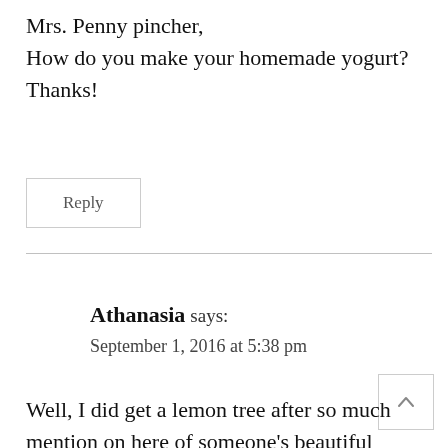Mrs. Penny pincher,
How do you make your homemade yogurt? Thanks!
Reply
Athanasia says:
September 1, 2016 at 5:38 pm
Well, I did get a lemon tree after so much mention on here of someone's beautiful